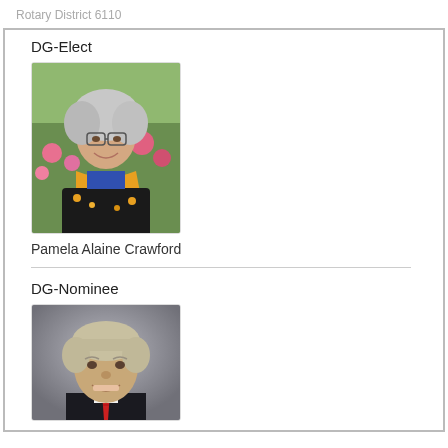Rotary District 6110
DG-Elect
[Figure (photo): Portrait photo of Pamela Alaine Crawford, an older woman with gray curly hair, glasses, wearing a dark floral jacket and orange/yellow scarf, seated outdoors with flowers in background]
Pamela Alaine Crawford
DG-Nominee
[Figure (photo): Portrait photo of a man with short gray-blonde hair, wearing a dark suit and red striped tie, smiling, photographed against a gray studio background]